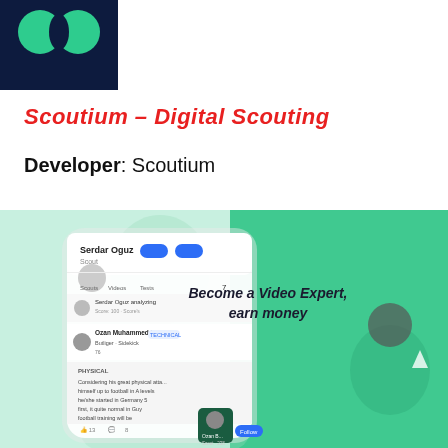[Figure (logo): Scoutium app logo — dark navy background with two overlapping green circles/dots]
Scoutium – Digital Scouting
Developer: Scoutium
[Figure (screenshot): App screenshot showing Scoutium digital scouting interface with a phone displaying a user profile (Serdar Oguz, Scout) and a scouting report. Right half shows a dark teal/green background with text 'Become a Video Expert, earn money' and a person's image.]